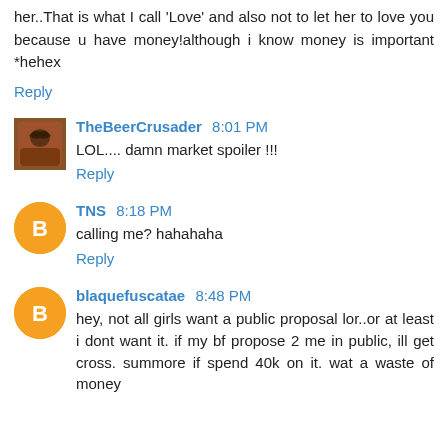her..That is what I call 'Love' and also not to let her to love you because u have money!although i know money is important *hehex
Reply
TheBeerCrusader 8:01 PM
LOL.... damn market spoiler !!!
Reply
TNS 8:18 PM
calling me? hahahaha
Reply
blaquefuscatae 8:48 PM
hey, not all girls want a public proposal lor..or at least i dont want it. if my bf propose 2 me in public, ill get cross. summore if spend 40k on it. wat a waste of money